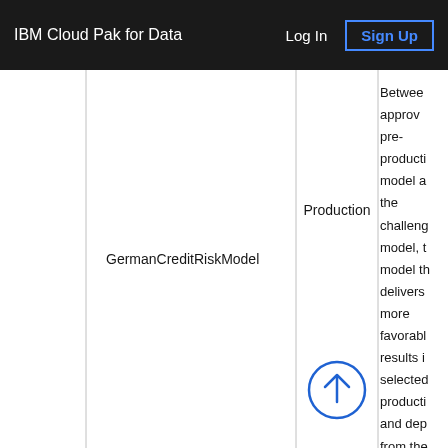IBM Cloud Pak for Data   Log In   Sign Up
| (unnamed) | Model Name | Stage | Description |
| --- | --- | --- | --- |
|  | GermanCreditRiskModel | Production | Between approved pre-production model and the challenger model, the model that delivers more favorable results is selected production and dep from the... |